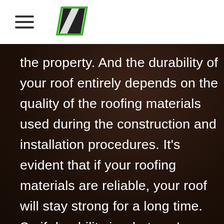[Figure (logo): Green and dark parallelogram/rhombus shape logo in header]
the property. And the durability of your roof entirely depends on the quality of the roofing materials used during the construction and installation procedures. It's evident that if your roofing materials are reliable, your roof will stay strong for a long time. So if durability is what you're looking for, you can trust our professionals without stressing. Our experts use nothing but the highest quality of materials for the best service